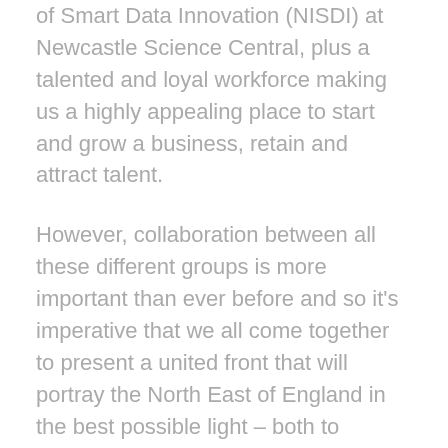of Smart Data Innovation (NISDI) at Newcastle Science Central, plus a talented and loyal workforce making us a highly appealing place to start and grow a business, retain and attract talent.
However, collaboration between all these different groups is more important than ever before and so it's imperative that we all come together to present a united front that will portray the North East of England in the best possible light – both to Central Government and to potential global partners.
I believe this should be entrepreneur-driven,